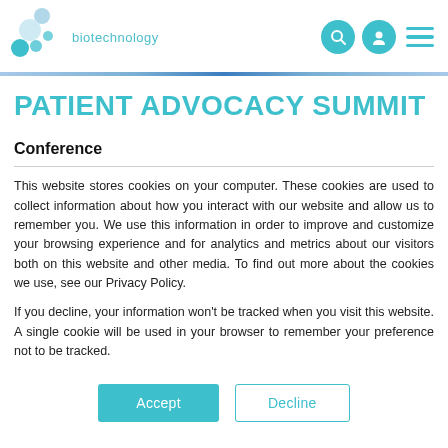[Figure (logo): Biotechnology logo with teal/blue circle bubbles and text 'biotechnology']
PATIENT ADVOCACY SUMMIT
Conference
This website stores cookies on your computer. These cookies are used to collect information about how you interact with our website and allow us to remember you. We use this information in order to improve and customize your browsing experience and for analytics and metrics about our visitors both on this website and other media. To find out more about the cookies we use, see our Privacy Policy.
If you decline, your information won't be tracked when you visit this website. A single cookie will be used in your browser to remember your preference not to be tracked.